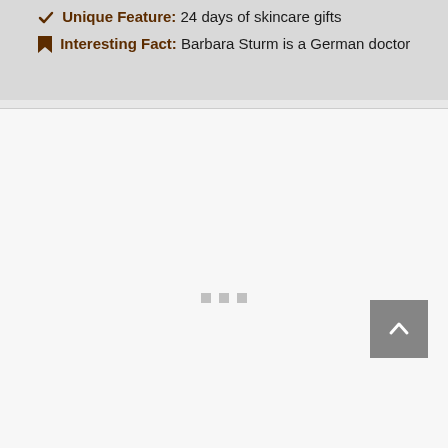Unique Feature: 24 days of skincare gifts
Interesting Fact: Barbara Sturm is a German doctor
[Figure (other): White content area with three gray square dots (carousel indicators) and a gray back-to-top arrow button in the bottom right corner]